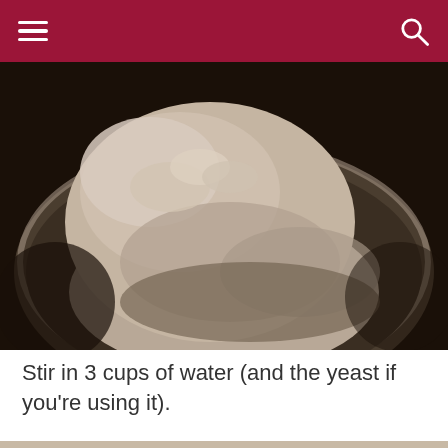[Figure (photo): Top-down view of a mound of brown/wheat flour in a glass mixing bowl, seen from above. The flour is piled in the center of the bowl against a dark background.]
Stir in 3 cups of water (and the yeast if you're using it).
[Figure (photo): Partial view of a bowl with wetted flour mixture being stirred, showing a wet, clumpy texture. A close button (×) is visible in the top-right corner of this image section.]